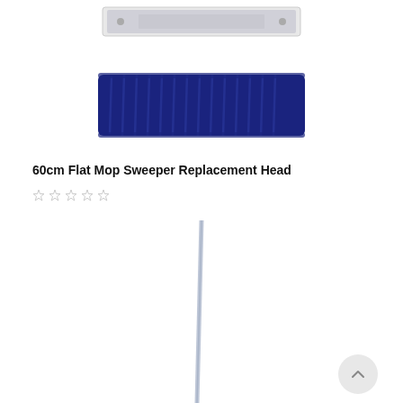[Figure (photo): Two blue flat mop heads shown from above — a narrow rectangular frame/holder on top and a thick rectangular blue microfiber/chenille mop pad below it]
60cm Flat Mop Sweeper Replacement Head
[Figure (other): Five empty star rating icons in a row indicating no reviews yet]
[Figure (photo): A slim metal mop handle/pole shown vertically, slightly angled, against a white background]